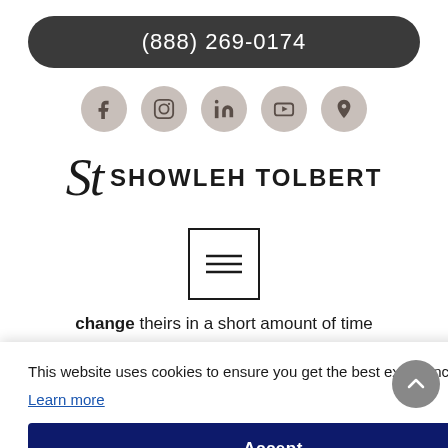(888) 269-0174
[Figure (infographic): Row of five circular social media icon buttons (Facebook, Instagram, LinkedIn, YouTube, Location pin) in taupe/beige color]
[Figure (logo): Showleh Tolbert logo: cursive ST monogram followed by SHOWLEH TOLBERT in bold serif caps]
[Figure (infographic): Hamburger menu icon — three horizontal lines inside a square border]
change theirs in a short amount of time
This website uses cookies to ensure you get the best experience on our website.
Learn more
Accept